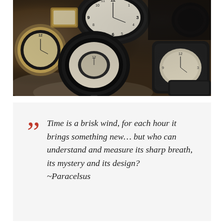[Figure (photo): A collection of vintage antique clocks and pocket watches arranged on a lace doily. Various clock faces visible including large round pocket watches, a rectangular desk clock, and compass-like timepieces in dark metal cases. The image is dark and moody with a shallow depth of field.]
Time is a brisk wind, for each hour it brings something new… but who can understand and measure its sharp breath, its mystery and its design? ~Paracelsus